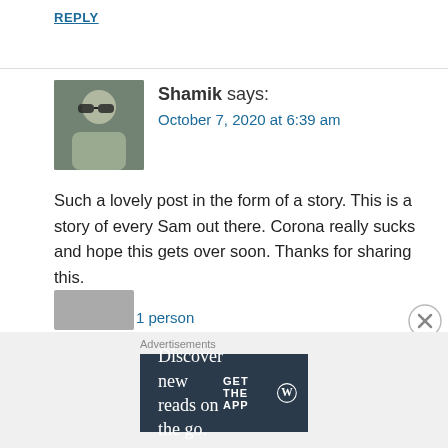REPLY
[Figure (photo): Avatar photo of commenter Shamik wearing sunglasses]
Shamik says:
October 7, 2020 at 6:39 am
Such a lovely post in the form of a story. This is a story of every Sam out there. Corona really sucks and hope this gets over soon. Thanks for sharing this.
Liked by 1 person
REPLY
Advertisements
Discover new reads on the go. GET THE APP